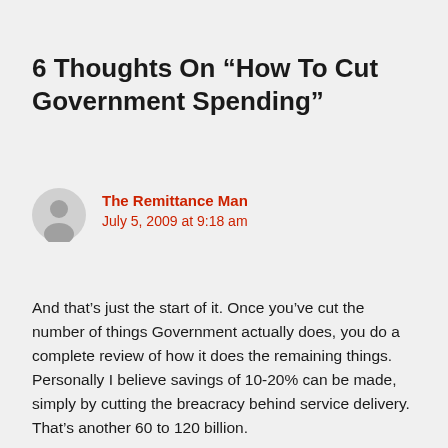6 Thoughts On “How To Cut Government Spending”
The Remittance Man
July 5, 2009 at 9:18 am
And that’s just the start of it. Once you’ve cut the number of things Government actually does, you do a complete review of how it does the remaining things. Personally I believe savings of 10-20% can be made, simply by cutting the breacracy behind service delivery. That’s another 60 to 120 billion.